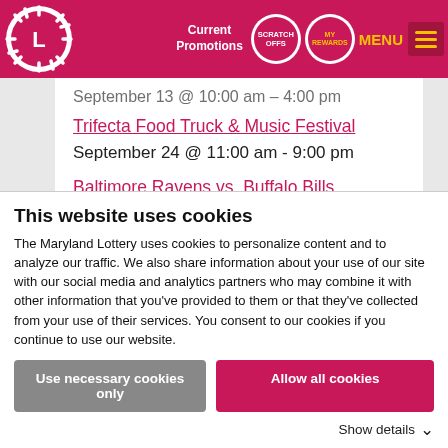Current Promotions | SCRATCH OFFS | MY REWARDS | MENU
September 13 @ 10:00 am - 4:00 pm
Trifecta Food Truck & Music Festival
September 24 @ 11:00 am - 9:00 pm
Baltimore Ravens vs. Buffalo Bills
October 2 @ 10:00 am - 1:00 pm
View All Events
This website uses cookies
The Maryland Lottery uses cookies to personalize content and to analyze our traffic. We also share information about your use of our site with our social media and analytics partners who may combine it with other information that you've provided to them or that they've collected from your use of their services. You consent to our cookies if you continue to use our website.
Use necessary cookies only
Allow all cookies
Show details